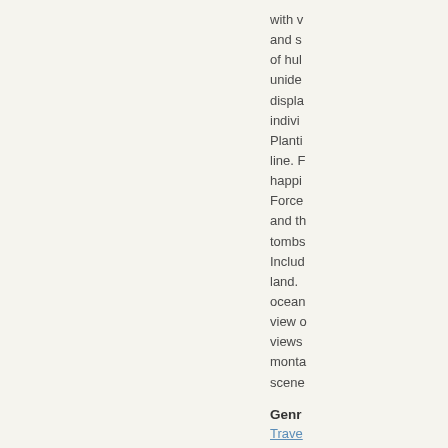with v and s of hula unide displa individ Planti line. F happi Force and th tombs Includ land. ocean view o views monta scene
Genre
Trave
Form